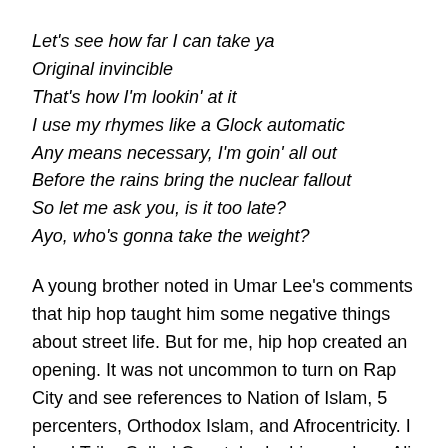Let's see how far I can take ya
Original invincible
That's how I'm lookin' at it
I use my rhymes like a Glock automatic
Any means necessary, I'm goin' all out
Before the rains bring the nuclear fallout
So let me ask you, is it too late?
Ayo, who's gonna take the weight?
A young brother noted in Umar Lee's comments that hip hop taught him some negative things about street life. But for me, hip hop created an opening. It was not uncommon to turn on Rap City and see references to Nation of Islam, 5 percenters, Orthodox Islam, and Afrocentricity. I loved Tribe Called Quest, had a big crush on Ali Shaheed Muhammad. Rakim was the greatest Rapper alive. I was